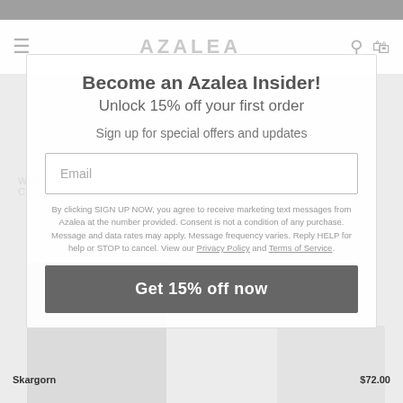[Figure (screenshot): E-commerce website (Azalea) with a modal popup overlay for email signup to receive 15% off first order. Background shows navigation bar with hamburger menu, AZALEA logo, search and cart icons, and partially visible clothing product images. Modal contains headline, subheadline, email input field, legal text, and a CTA button.]
Become an Azalea Insider!
Unlock 15% off your first order
Sign up for special offers and updates
Email
By clicking SIGN UP NOW, you agree to receive marketing text messages from Azalea at the number provided. Consent is not a condition of any purchase. Message and data rates may apply. Message frequency varies. Reply HELP for help or STOP to cancel. View our Privacy Policy and Terms of Service.
Get 15% off now
Skargorn
$72.00